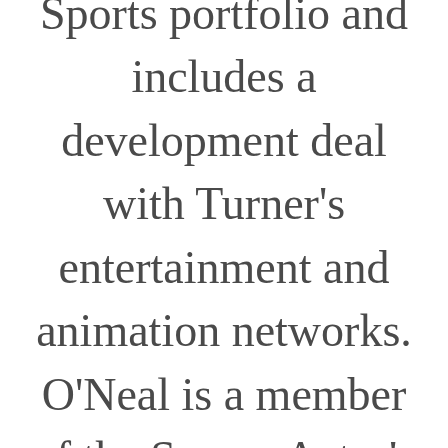Sports portfolio and includes a development deal with Turner's entertainment and animation networks. O'Neal is a member of the Screen Actor's Guild, with entertainment credits including a number of